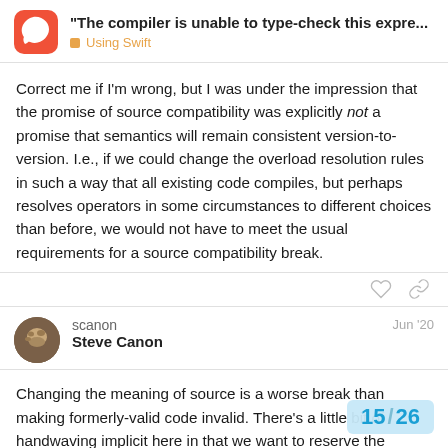"The compiler is unable to type-check this expre... — Using Swift
Correct me if I'm wrong, but I was under the impression that the promise of source compatibility was explicitly not a promise that semantics will remain consistent version-to-version. I.e., if we could change the overload resolution rules in such a way that all existing code compiles, but perhaps resolves operators in some circumstances to different choices than before, we would not have to meet the usual requirements for a source compatibility break.
scanon — Steve Canon — Jun '20
Changing the meaning of source is a worse break than making formerly-valid code invalid. There's a little bit of handwaving implicit here in that we want to reserve the "obvious" bugs in the compiler or standard